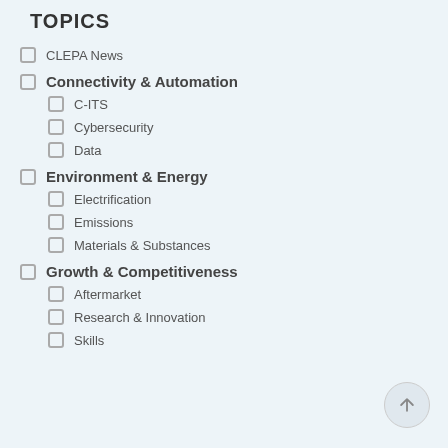TOPICS
CLEPA News
Connectivity & Automation
C-ITS
Cybersecurity
Data
Environment & Energy
Electrification
Emissions
Materials & Substances
Growth & Competitiveness
Aftermarket
Research & Innovation
Skills